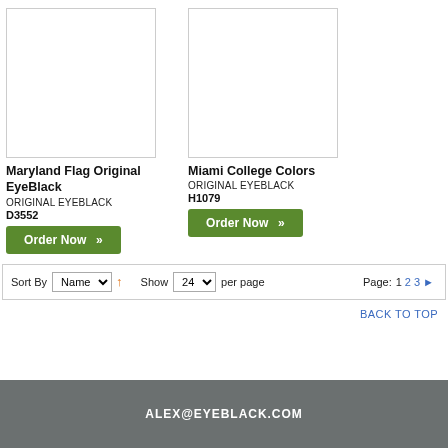[Figure (photo): Product image placeholder for Maryland Flag Original EyeBlack (white/blank square)]
Maryland Flag Original EyeBlack
ORIGINAL EYEBLACK
D3552
Order Now »
[Figure (photo): Product image placeholder for Miami College Colors (white/blank square)]
Miami College Colors
ORIGINAL EYEBLACK
H1079
Order Now »
Sort By  Name  ↑  Show  24  per page  Page:  1  2  3  ▶
BACK TO TOP
ALEX@EYEBLACK.COM